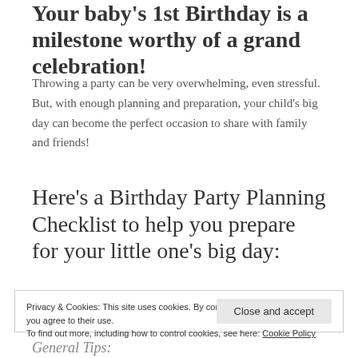Your baby's 1st Birthday is a milestone worthy of a grand celebration!
Throwing a party can be very overwhelming, even stressful. But, with enough planning and preparation, your child's big day can become the perfect occasion to share with family and friends!
Here's a Birthday Party Planning Checklist to help you prepare for your little one's big day:
Privacy & Cookies: This site uses cookies. By continuing to use this website, you agree to their use.
To find out more, including how to control cookies, see here: Cookie Policy
[Close and accept]
General Tips: